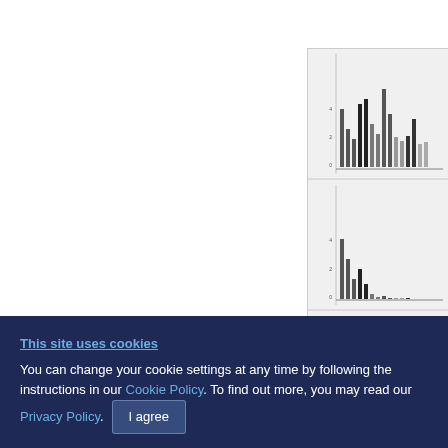[Figure (bar-chart): Partially visible bar chart with multiple sub-panels showing grouped bars on a gray background, cut off on the right edge of the page]
Finally, th... incubation... BP14) and... test. It m... of each si... presented...
This site uses cookies
You can change your cookie settings at any time by following the instructions in our Cookie Policy. To find out more, you may read our Privacy Policy.
I agree